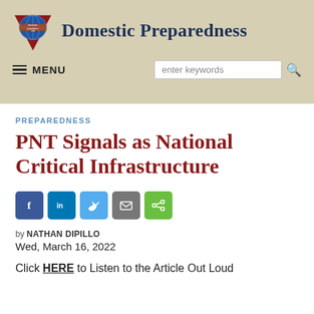Domestic Preparedness
PREPAREDNESS
PNT Signals as National Critical Infrastructure
by NATHAN DIPILLO
Wed, March 16, 2022
Click HERE to Listen to the Article Out Loud